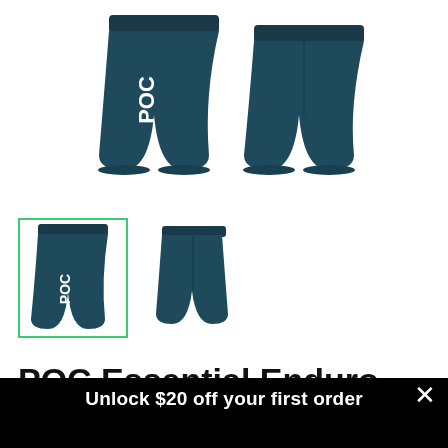[Figure (photo): Two teal/dark blue cycling shorts shown front and back view from POC brand, displayed as main product image on white background]
[Figure (photo): Two small thumbnail images of the POC shorts; first thumbnail has a green border indicating it is selected, second shows rear view of shorts]
POC Essential Enduro
light
light medium
Unlock $20 off your first order
email address
UNLOCK $20 OFF
*Valid for one-time use on new accounts